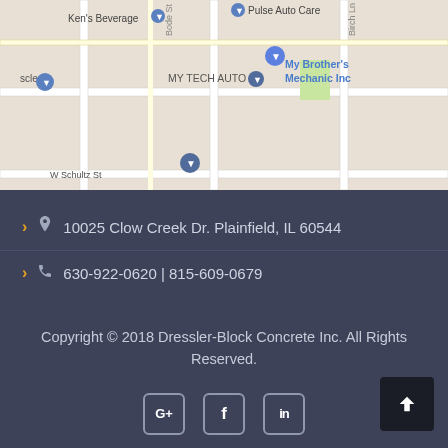[Figure (map): Google Maps screenshot showing area around W Schultz St in Plainfield IL, with pins for Ken's Beverage, Pulse Auto Care, MY TECH AUTO, My Brother's Mechanic Inc, and other locations]
10025 Clow Creek Dr. Plainfield, IL 60544
630-922-0620 | 815-609-0679
Copyright © 2018 Dressler-Block Concrete Inc. All Rights Reserved.
[Figure (other): Social media icons: Google+, Facebook, LinkedIn]